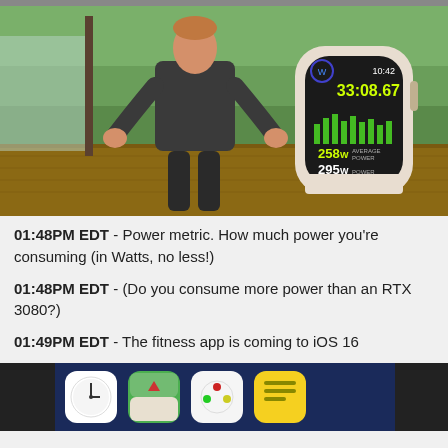[Figure (photo): Man in athletic wear presenting outdoors, with Apple Watch Ultra showing cycling workout data (33:08.67, 258W average power, 295W power)]
01:48PM EDT - Power metric. How much power you're consuming (in Watts, no less!)
01:48PM EDT - (Do you consume more power than an RTX 3080?)
01:49PM EDT - The fitness app is coming to iOS 16
[Figure (screenshot): iOS 16 home screen showing app icons including Clock, Maps, and other apps]